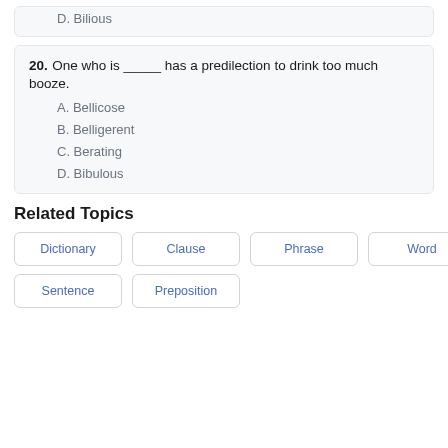D. Bilious
20. One who is _____ has a predilection to drink too much booze.
A. Bellicose
B. Belligerent
C. Berating
D. Bibulous
Related Topics
Dictionary
Clause
Phrase
Word
Sentence
Preposition